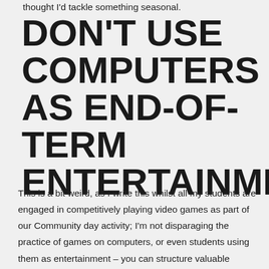thought I'd tackle something seasonal.
DON'T USE COMPUTERS AS END-OF-TERM ENTERTAINMENT
This is a bit weird, as I write this whilst all my students are engaged in competitively playing video games as part of our Community day activity; I'm not disparaging the practice of games on computers, or even students using them as entertainment – you can structure valuable learning activities around games – what I am crusading against is the end of term practice of "You've finished your work, so find